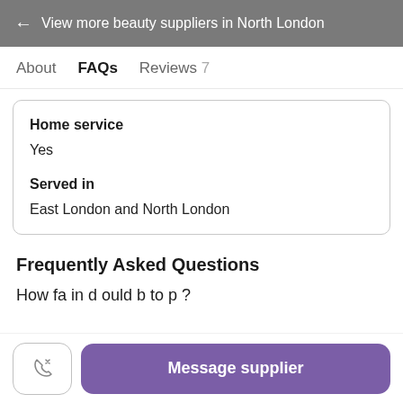← View more beauty suppliers in North London
About  FAQs  Reviews 7
Home service
Yes
Served in
East London and North London
Frequently Asked Questions
Message supplier